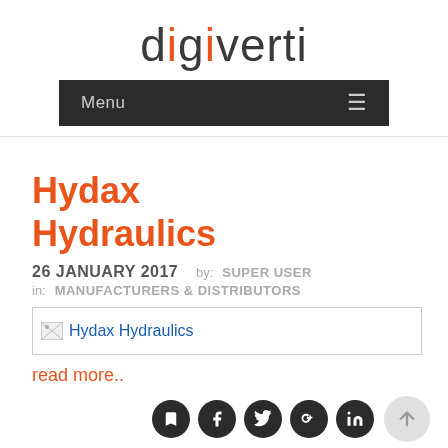digiverti
[Figure (screenshot): Navigation bar with dark background showing 'Menu' text and hamburger icon]
Hydax Hydraulics
26 JANUARY 2017   by:  SUPER USER
in:  MANUFACTURERS & DISTRIBUTORS
[Figure (photo): Image placeholder showing broken image icon with alt text 'Hydax Hydraulics']
read more..
[Figure (other): Social media icons: bookmark/share, Facebook, Twitter, Google+, LinkedIn; and scroll-to-top button]